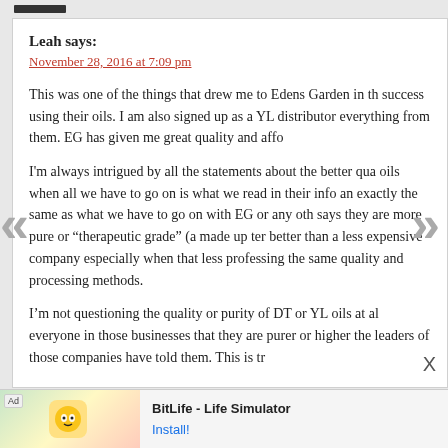Leah says:
November 28, 2016 at 7:09 pm
This was one of the things that drew me to Edens Garden in th... success using their oils. I am also signed up as a YL distributor... everything from them. EG has given me great quality and affo...
I'm always intrigued by all the statements about the better qua... oils when all we have to go on is what we read in their info an... exactly the same as what we have to go on with EG or any oth... says they are more pure or "therapeutic grade" (a made up ter... better than a less expensive company especially when that less... professing the same quality and processing methods.
I'm not questioning the quality or purity of DT or YL oils at al... everyone in those businesses that they are purer or higher... the leaders of those companies have told them. This is tr...
[Figure (screenshot): BitLife - Life Simulator advertisement banner at the bottom of the page with Install! button]